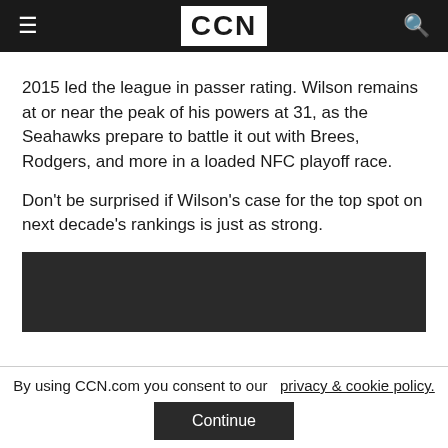CCN
2015 led the league in passer rating. Wilson remains at or near the peak of his powers at 31, as the Seahawks prepare to battle it out with Brees, Rodgers, and more in a loaded NFC playoff race.
Don't be surprised if Wilson's case for the top spot on next decade's rankings is just as strong.
[Figure (other): Dark rectangular image block]
By using CCN.com you consent to our privacy & cookie policy.
Continue